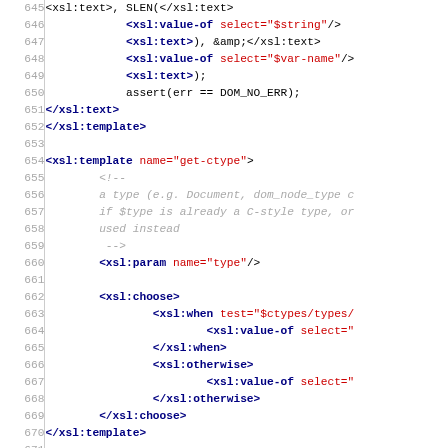Code listing lines 645-674, XSL template source code